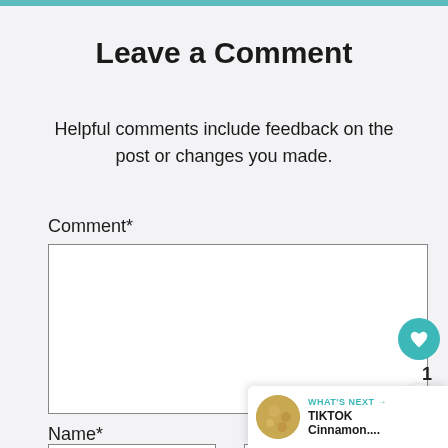Leave a Comment
Helpful comments include feedback on the post or changes you made.
Comment*
Name*
Email*